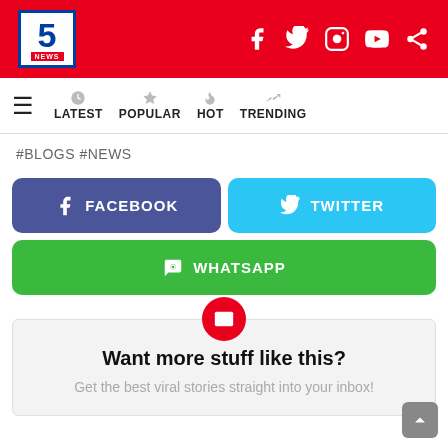5 NEWS — header with social icons (Facebook, Twitter, Instagram, YouTube, Share)
LATEST  POPULAR  HOT  TRENDING
#BLOGS #NEWS
[Figure (infographic): Social share buttons: FACEBOOK (blue), TWITTER (light blue), WHATSAPP (green)]
Want more stuff like this?
Get the best viral stories straight into your inbox!